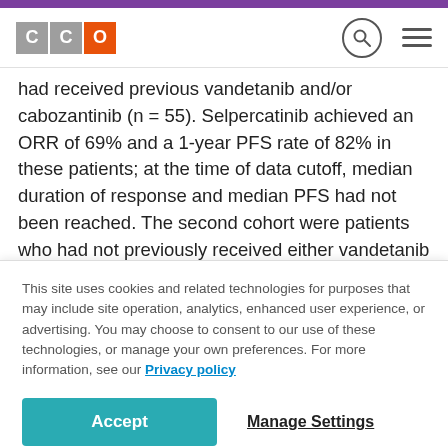CCO
had received previous vandetanib and/or cabozantinib (n = 55). Selpercatinib achieved an ORR of 69% and a 1-year PFS rate of 82% in these patients; at the time of data cutoff, median duration of response and median PFS had not been reached. The second cohort were patients who had not previously received either vandetanib or cabozantinib (n = 88). The ORR in this cohort was 73%, with a 1-year PFS rate of 92%. Again, the median duration of response and PFS had not yet
This site uses cookies and related technologies for purposes that may include site operation, analytics, enhanced user experience, or advertising. You may choose to consent to our use of these technologies, or manage your own preferences. For more information, see our Privacy policy
Accept
Manage Settings